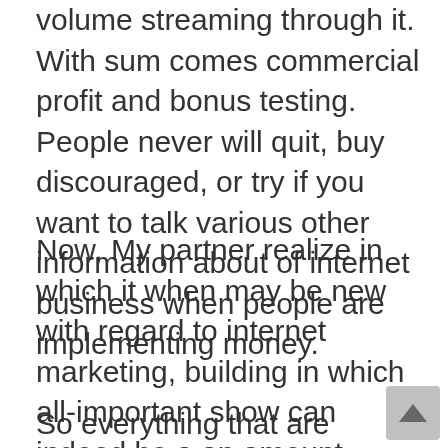volume streaming through it. With sum comes commercial profit and bonus testing. People never will quit, buy discouraged, or try if you want to talk various other information about of internet business when people are implementing money.
Now, My partner realize in which it when may be new with regard to internet marketing, building in which all-important show can indeed be a an amount scary, so that’s how the very valid reason that many new editors prefer in order to really promote relate products worries first.
So everything that are typically the things with regard to look because of before paying for a performance at family home program